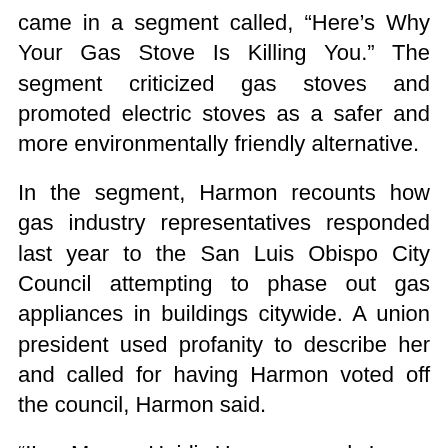came in a segment called, “Here’s Why Your Gas Stove Is Killing You.” The segment criticized gas stoves and promoted electric stoves as a safer and more environmentally friendly alternative.
In the segment, Harmon recounts how gas industry representatives responded last year to the San Luis Obispo City Council attempting to phase out gas appliances in buildings citywide. A union president used profanity to describe her and called for having Harmon voted off the council, Harmon said.
“I’m Mayor Heidi Harmon, and I was targeted by the gas industry,” Harmon says in the television segment.
[Figure (screenshot): A video thumbnail with a black background showing a circular avatar of a blonde woman and text reading 'Here's Why Your Gas St' with a menu icon on the right.]